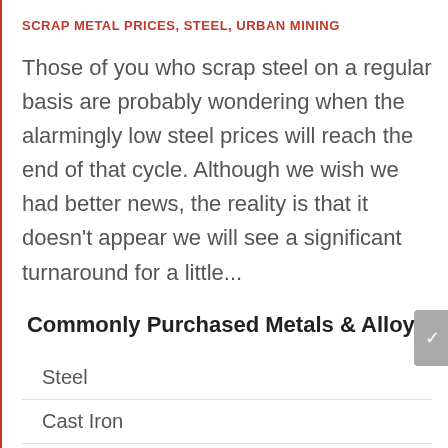SCRAP METAL PRICES, STEEL, URBAN MINING
Those of you who scrap steel on a regular basis are probably wondering when the alarmingly low steel prices will reach the end of that cycle. Although we wish we had better news, the reality is that it doesn't appear we will see a significant turnaround for a little...
Commonly Purchased Metals & Alloys
Steel
Cast Iron
Auto Cast
Aluminum